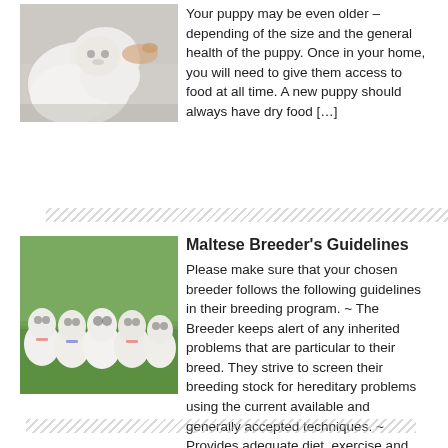[Figure (photo): Close-up photo of a white fluffy puppy/dog being held by a person]
Your puppy may be even older – depending of the size and the general health of the puppy. Once in your home, you will need to give them access to food at all time. A new puppy should always have dry food […]
[Figure (photo): Group of small white Maltese puppies sitting on grass]
Maltese Breeder's Guidelines
Please make sure that your chosen breeder follows the following guidelines in their breeding program. ~ The Breeder keeps alert of any inherited problems that are particular to their breed. They strive to screen their breeding stock for hereditary problems using the current available and generally accepted techniques. ~ Provides adequate diet, exercise and veterinary care […]